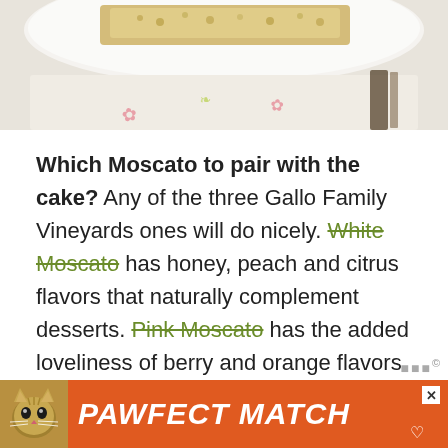[Figure (photo): Partial photo of a cake or dessert on a white plate with a decorative napkin/cloth underneath, cropped at top of page]
Which Moscato to pair with the cake? Any of the three Gallo Family Vineyards ones will do nicely. White Moscato has honey, peach and citrus flavors that naturally complement desserts. Pink Moscato has the added loveliness of berry and orange flavors pairing wonderfully with chocolate. The bright red berry flavor of Red Moscato makes it the boldest of the three and also balances rich and creamy desserts. Take a fun Moscatofy Yourself Quiz to find out which one may suit your taste. Check out Gallo's Moscato Day blog post for more
[Figure (photo): Advertisement banner at bottom: orange background with cat photo on left and bold italic text 'PAWFECT MATCH' with a close X button and heart icon]